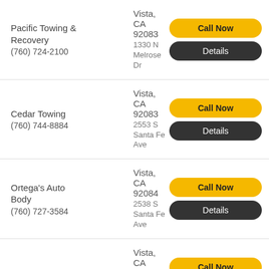Pacific Towing & Recovery
(760) 724-2100
Vista, CA 92083
1330 N Melrose Dr
Cedar Towing
(760) 744-8884
Vista, CA 92083
2553 S Santa Fe Ave
Ortega's Auto Body
(760) 727-3584
Vista, CA 92084
2538 S Santa Fe Ave
Towing Vista
(760) 800-2001
Vista, CA 92081
2575 Pioneer Ave
Oceanside
Oceanside, CA